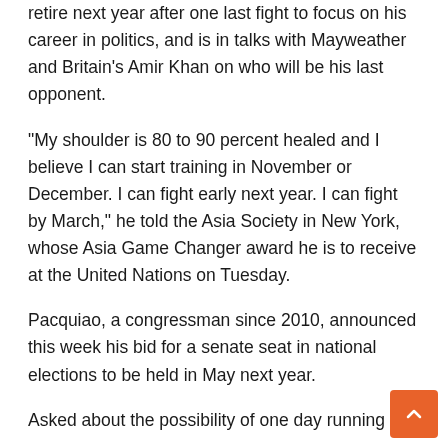retire next year after one last fight to focus on his career in politics, and is in talks with Mayweather and Britain's Amir Khan on who will be his last opponent.
“My shoulder is 80 to 90 percent healed and I believe I can start training in November or December. I can fight early next year. I can fight by March,” he told the Asia Society in New York, whose Asia Game Changer award he is to receive at the United Nations on Tuesday.
Pacquiao, a congressman since 2010, announced this week his bid for a senate seat in national elections to be held in May next year.
Asked about the possibility of one day running for